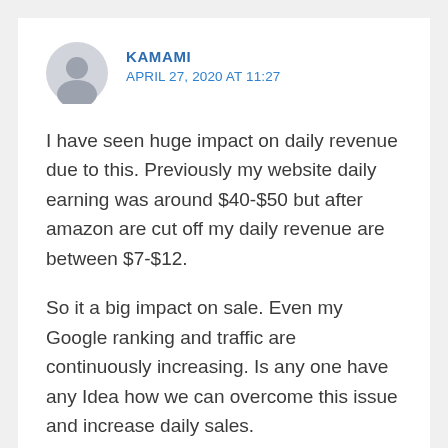KAMAMI
APRIL 27, 2020 AT 11:27
I have seen huge impact on daily revenue due to this. Previously my website daily earning was around $40-$50 but after amazon are cut off my daily revenue are between $7-$12.
So it a big impact on sale. Even my Google ranking and traffic are continuously increasing. Is any one have any Idea how we can overcome this issue and increase daily sales.